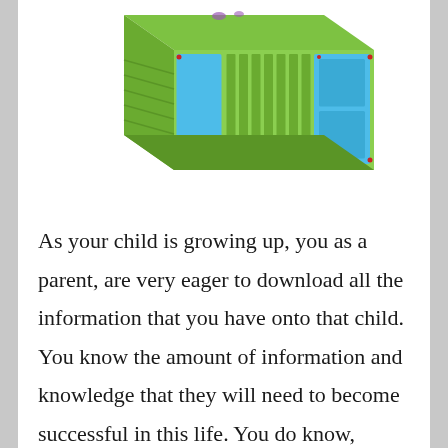[Figure (illustration): A colorful green and blue children's toy storage unit or playhouse structure, viewed from a slight angle above, with multiple compartments and panels.]
As your child is growing up, you as a parent, are very eager to download all the information that you have onto that child. You know the amount of information and knowledge that they will need to become successful in this life. You do know, however, that this child still needs to undergo various stages of development before they are ready to conquer the world.